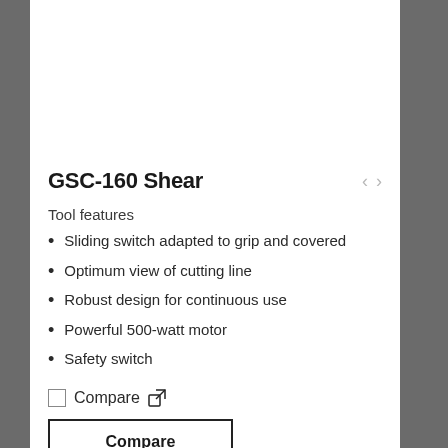GSC-160 Shear
Tool features
Sliding switch adapted to grip and covered
Optimum view of cutting line
Robust design for continuous use
Powerful 500-watt motor
Safety switch
Compare
Compare
Add to quote